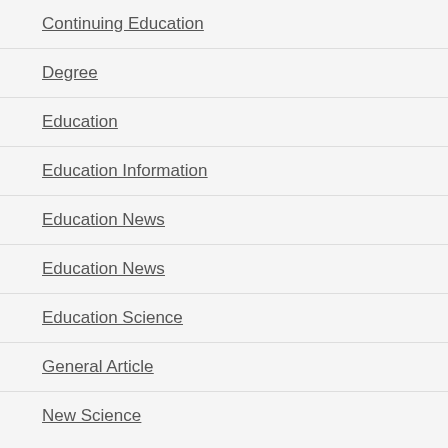Continuing Education
Degree
Education
Education Information
Education News
Education News
Education Science
General Article
New Science